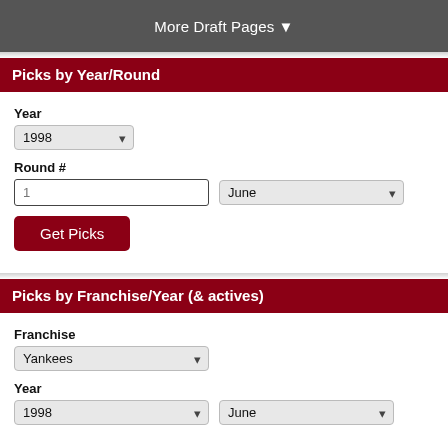More Draft Pages ▼
Picks by Year/Round
Year
1998
Round #
1
June
Get Picks
Picks by Franchise/Year (& actives)
Franchise
Yankees
Year
1998
June